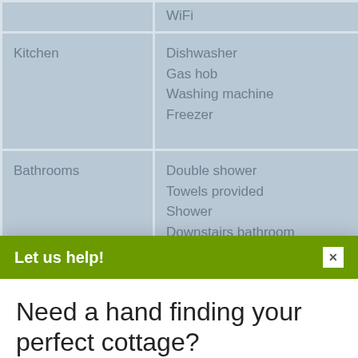| Category | Items |
| --- | --- |
|  | WiFi |
| Kitchen | Dishwasher
Gas hob
Washing machine
Freezer |
| Bathrooms | Double shower
Towels provided
Shower
Downstairs bathroom
Bath |
Let us help!
Need a hand finding your perfect cottage?
Simply fill out this form and we'll do the hard work for you.